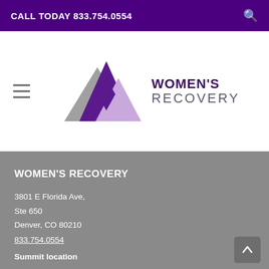CALL TODAY 833.754.0554
[Figure (logo): Women's Recovery logo with three mountain triangles in gray, purple, and lavender, and text WOMEN'S RECOVERY in dark purple]
WOMEN'S RECOVERY
3801 E Florida Ave,
Ste 650
Denver, CO 80210
833.754.0554
Summit location